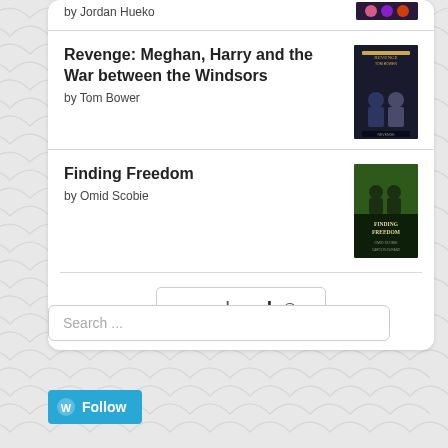by Jordan Hueko
Revenge: Meghan, Harry and the War between the Windsors
by Tom Bower
Finding Freedom
by Omid Scobie
[Figure (logo): goodreads logo button]
Search ...
Follow